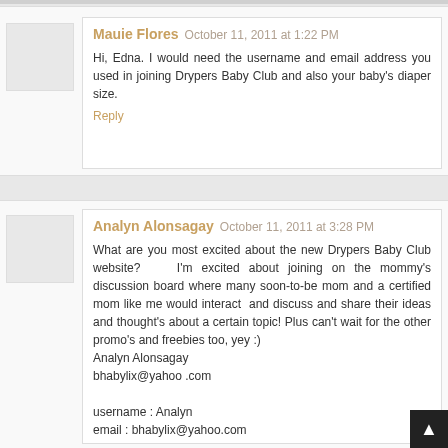Mauie Flores  October 11, 2011 at 1:22 PM
Hi, Edna. I would need the username and email address you used in joining Drypers Baby Club and also your baby's diaper size.
Reply
Analyn Alonsagay  October 11, 2011 at 3:28 PM
What are you most excited about the new Drypers Baby Club website?   I'm excited about joining on the mommy's discussion board where many soon-to-be mom and a certified mom like me would interact  and discuss and share their ideas and thought's about a certain topic! Plus can't wait for the other promo's and freebies too, yey :)
Analyn Alonsagay
bhabylix@yahoo .com

username : Analyn
email : bhabylix@yahoo.com
Reply